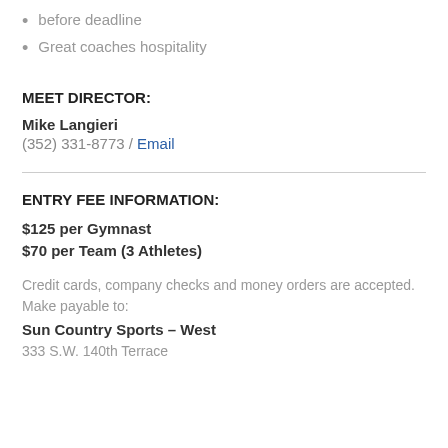before deadline
Great coaches hospitality
MEET DIRECTOR:
Mike Langieri
(352) 331-8773 / Email
ENTRY FEE INFORMATION:
$125 per Gymnast
$70 per Team (3 Athletes)
Credit cards, company checks and money orders are accepted. Make payable to:
Sun Country Sports – West
333 S.W. 140th Terrace